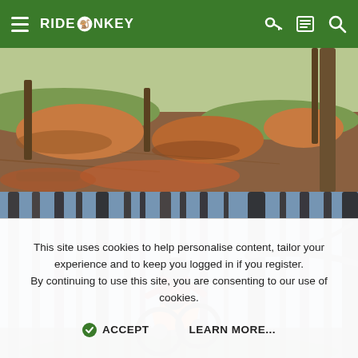RIDEMONKEY navigation bar with hamburger menu, logo, key icon, list icon, and search icon
[Figure (photo): Aerial/ground-level view of a dirt mountain bike trail with mounds/berms and pine trees in a forest setting]
[Figure (photo): Mountain biker riding through a sparse forest of tall bare trees; rider wearing red and black gear on an orange bike]
This site uses cookies to help personalise content, tailor your experience and to keep you logged in if you register.
By continuing to use this site, you are consenting to our use of cookies.
ACCEPT   LEARN MORE...